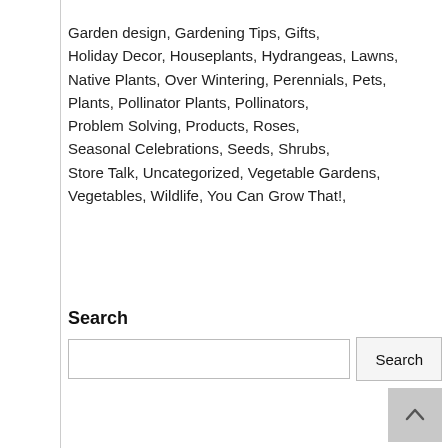Garden design, Gardening Tips, Gifts, Holiday Decor, Houseplants, Hydrangeas, Lawns, Native Plants, Over Wintering, Perennials, Pets, Plants, Pollinator Plants, Pollinators, Problem Solving, Products, Roses, Seasonal Celebrations, Seeds, Shrubs, Store Talk, Uncategorized, Vegetable Gardens, Vegetables, Wildlife, You Can Grow That!,
Search